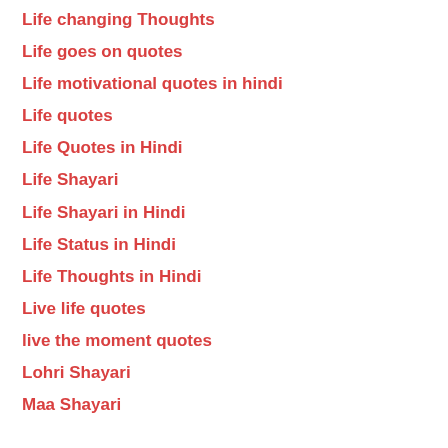Life changing Thoughts
Life goes on quotes
Life motivational quotes in hindi
Life quotes
Life Quotes in Hindi
Life Shayari
Life Shayari in Hindi
Life Status in Hindi
Life Thoughts in Hindi
Live life quotes
live the moment quotes
Lohri Shayari
Maa Shayari